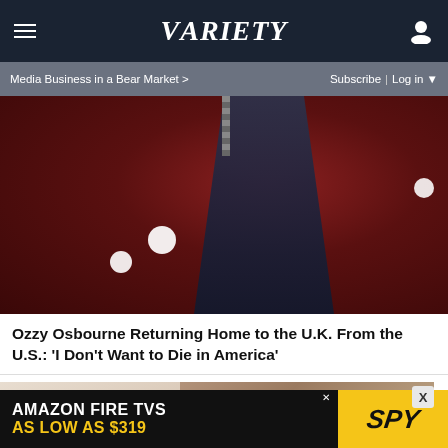VARIETY
Media Business in a Bear Market >
Subscribe | Log in
[Figure (photo): Dark concert or performance photo with a figure suspended upside down or hanging, against a deep red background with bright bokeh light spots]
Ozzy Osbourne Returning Home to the U.K. From the U.S.: 'I Don't Want to Die in America'
[Figure (photo): Close-up photo of a person's shoulder and arm, warm neutral tones]
AMAZON FIRE TVS AS LOW AS $319
[Figure (logo): SPY logo on yellow background]